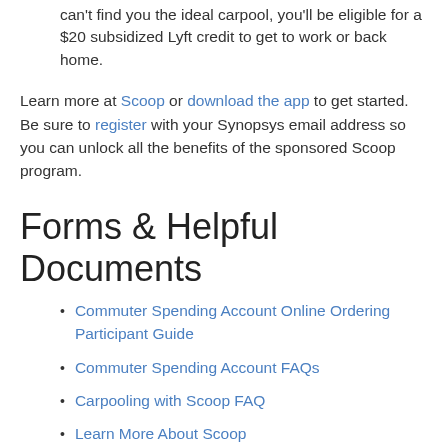can't find you the ideal carpool, you'll be eligible for a $20 subsidized Lyft credit to get to work or back home.
Learn more at Scoop or download the app to get started. Be sure to register with your Synopsys email address so you can unlock all the benefits of the sponsored Scoop program.
Forms & Helpful Documents
Commuter Spending Account Online Ordering Participant Guide
Commuter Spending Account FAQs
Carpooling with Scoop FAQ
Learn More About Scoop